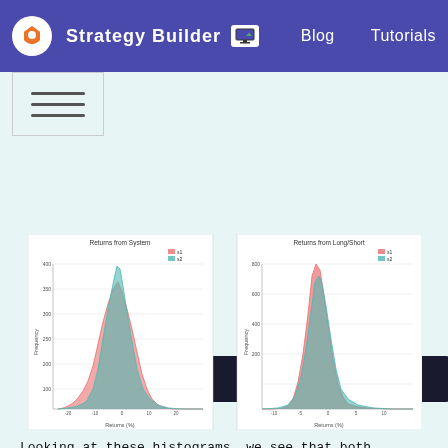Strategy Builder  Blog  Tutorials
plt.show()
[Figure (histogram): Two overlapping histograms (red and teal) showing Returns (%) distribution from the system, with teal distribution slightly taller at peak around 0-1%.]
[Figure (histogram): Two overlapping histograms (red and teal) showing Returns (%) distribution from Long/Short strategy. Red distribution is much taller/sharper, indicating more concentrated returns. Teal distribution is shorter and wider.]
Looking at these histograms, we see that both systems had very similar performance. Long positions, however, are very skewed to the right with all of the big wins coming from that side. Most of the small losses also came from